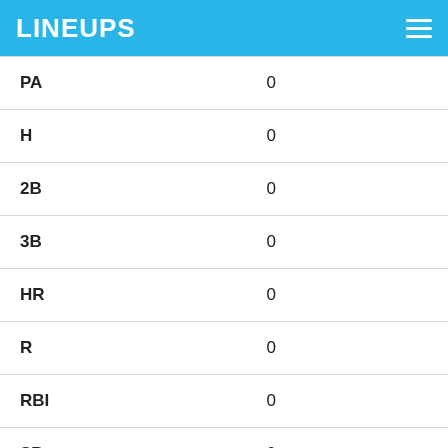LINEUPS
| PA | 0 |
| H | 0 |
| 2B | 0 |
| 3B | 0 |
| HR | 0 |
| R | 0 |
| RBI | 0 |
| SB | 0 |
| CS | 0 |
| BB | 0 |
| HBP | 0 |
| AVG | .000 |